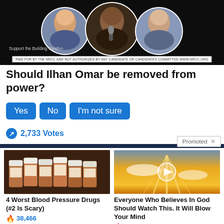[Figure (photo): Political advertisement banner with three circular portrait photos on dark background and NRCC paid-for disclaimer]
Support the Building Fund>>
PAID FOR BY THE NRCC AND NOT AUTHORIZED BY ANY CANDIDATE OR CANDIDATES COMMITTEE WWW.NRCC.ORG
Should Ilhan Omar be removed from power?
Yes
No
I'm not sure
2,733 Votes
Promoted X
[Figure (photo): Photo of several prescription pill bottles arranged in a row]
4 Worst Blood Pressure Drugs (#2 Is Scary)
38,466
[Figure (photo): Photo of sunlight beaming through clouds with video play button overlay]
Everyone Who Believes In God Should Watch This. It Will Blow Your Mind
5,911